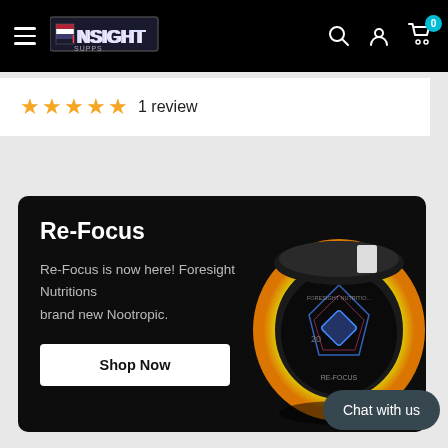Insight Supps navigation bar with logo, search, account, and cart (0 items)
★★★★★ 1 review
[Figure (screenshot): Re-Focus promotional banner with product image of holographic nootropic supplement container]
Re-Focus
Re-Focus is now here! Foresight Nutritions brand new Nootropic.
Shop Now
Chat with us